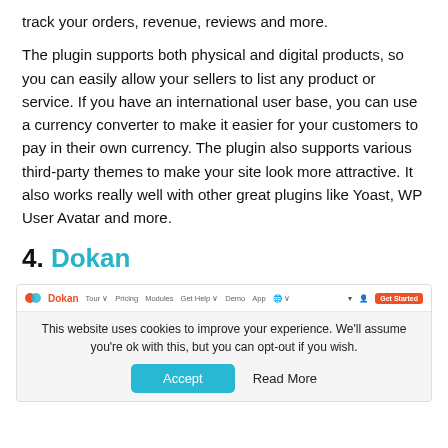track your orders, revenue, reviews and more.
The plugin supports both physical and digital products, so you can easily allow your sellers to list any product or service. If you have an international user base, you can use a currency converter to make it easier for your customers to pay in their own currency. The plugin also supports various third-party themes to make your site look more attractive. It also works really well with other great plugins like Yoast, WP User Avatar and more.
4. Dokan
[Figure (screenshot): Screenshot of the Dokan website navigation bar with logo, menu links (Tour, Pricing, Modules, Get Help, Demo, App), icons, and an orange Get Started button, followed by a cookie consent bar saying 'This website uses cookies to improve your experience. We'll assume you're ok with this, but you can opt-out if you wish.' with Accept and Read More buttons.]